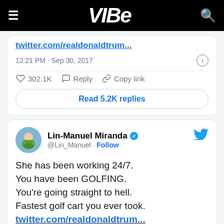VIBE
twitter.com/realdonaldtrum...
12:21 PM · Sep 30, 2017
302.1K  Reply  Copy link
Read 5.2K replies
Lin-Manuel Miranda @Lin_Manuel · Follow
She has been working 24/7. You have been GOLFING. You're going straight to hell. Fastest golf cart you ever took. twitter.com/realdonaldtrum...
12:24 PM · Sep 30, 2017